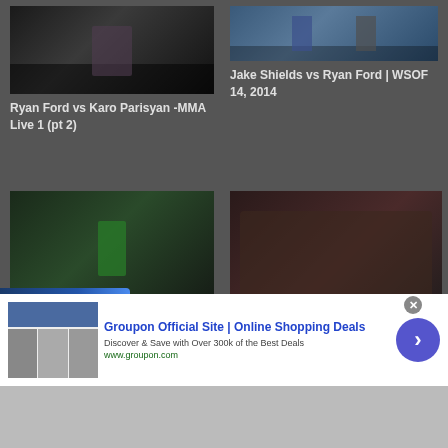[Figure (screenshot): Video thumbnail: Ryan Ford vs Karo Parisyan MMA fight scene, dark arena]
Ryan Ford vs Karo Parisyan -MMA Live 1 (pt 2)
[Figure (screenshot): Video thumbnail: Jake Shields vs Ryan Ford WSOF 14 2014, fighters on mat]
Jake Shields vs Ryan Ford | WSOF 14, 2014
[Figure (screenshot): Video thumbnail: Pat Healy vs Ryan Ford MFC 17, game/fight screenshot green jersey]
Pat Healy vs Ryan Ford MFC 17
[Figure (screenshot): Video thumbnail: Douglas Lima vs Ryan Ford MFC 26 Retribution, fighters on ground]
Douglas Lima vs. Ryan Ford MFC 26 Retribution
[Figure (screenshot): Infolinks advertisement bar]
[Figure (screenshot): Groupon advertisement banner: Groupon Official Site | Online Shopping Deals]